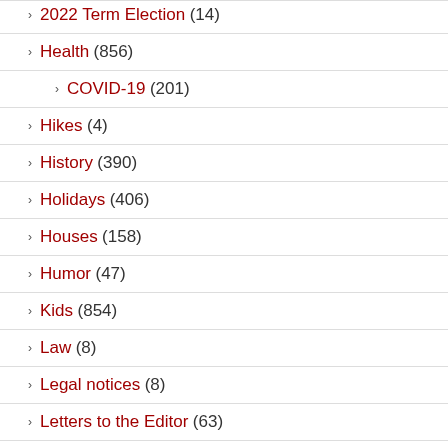2022 Term Election (14)
Health (856)
COVID-19 (201)
Hikes (4)
History (390)
Holidays (406)
Houses (158)
Humor (47)
Kids (854)
Law (8)
Legal notices (8)
Letters to the Editor (63)
Media (71)